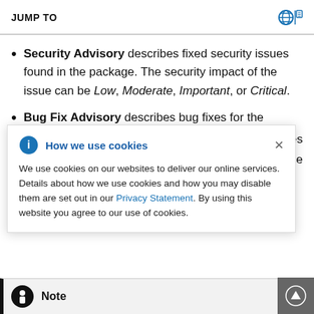JUMP TO
Security Advisory describes fixed security issues found in the package. The security impact of the issue can be Low, Moderate, Important, or Critical.
Bug Fix Advisory describes bug fixes for the
[Figure (infographic): Cookie consent popup dialog with info icon, title 'How we use cookies', close button, and body text about cookie usage with a Privacy Statement link.]
describes ded to the
Note